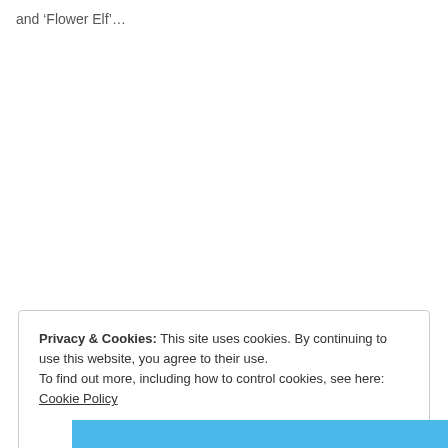and ‘Flower Elf’…
Privacy & Cookies: This site uses cookies. By continuing to use this website, you agree to their use.
To find out more, including how to control cookies, see here: Cookie Policy
Close and accept